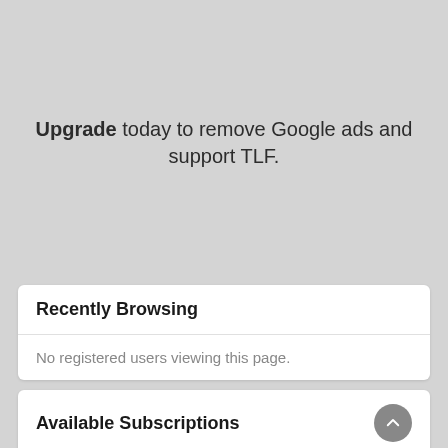Upgrade today to remove Google ads and support TLF.
Recently Browsing
No registered users viewing this page.
Available Subscriptions
TLF Gold with Lotus CoP - £175.00 for first year then